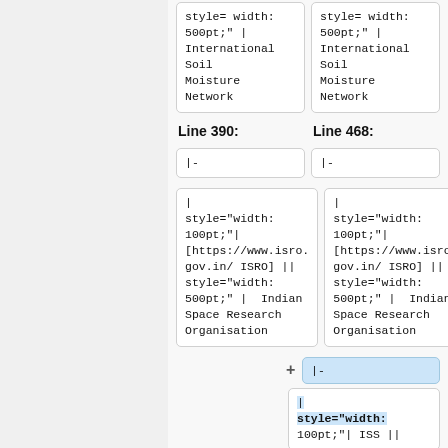style= width: 500pt;" | International Soil Moisture Network
style= width: 500pt;" | International Soil Moisture Network
Line 390:
Line 468:
|-
|-
| style="width: 100pt;"| [https://www.isro.gov.in/ ISRO] || style="width: 500pt;" |  Indian Space Research Organisation
| style="width: 100pt;"| [https://www.isro.gov.in/ ISRO] || style="width: 500pt;" |  Indian Space Research Organisation
|-
| style="width: 100pt;"| ISS ||